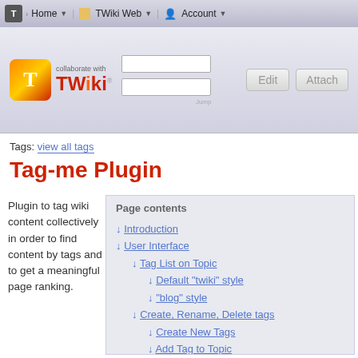T | Home ▼ | TWiki Web ▼ | Account ▼
[Figure (logo): TWiki logo with orange/red T icon, 'collaborate with TWiki' text, search boxes, Edit and Attach buttons]
Tags: view all tags
Tag-me Plugin
Plugin to tag wiki content collectively in order to find content by tags and to get a meaningful page ranking.
Page contents
↓ Introduction
↓ User Interface
↓ Tag List on Topic
↓ Default "twiki" style
↓ "blog" style
↓ Create, Rename, Delete tags
↓ Create New Tags
↓ Add Tag to Topic
↓ Rename Tags
↓ Delete Tags
↓ List All Tags
↓ List My Tags